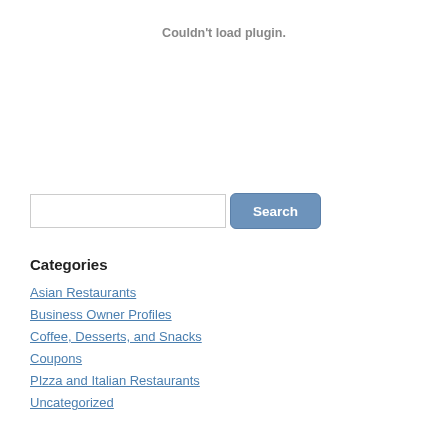Couldn't load plugin.
[Figure (other): Search input field with Search button]
Categories
Asian Restaurants
Business Owner Profiles
Coffee, Desserts, and Snacks
Coupons
PIzza and Italian Restaurants
Uncategorized